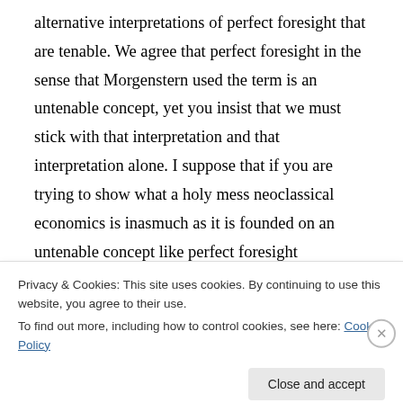alternative interpretations of perfect foresight that are tenable. We agree that perfect foresight in the sense that Morgenstern used the term is an untenable concept, yet you insist that we must stick with that interpretation and that interpretation alone. I suppose that if you are trying to show what a holy mess neoclassical economics is inasmuch as it is founded on an untenable concept like perfect foresight understood as Divine foreknowledge of the future, then you might be able to start a good
Privacy & Cookies: This site uses cookies. By continuing to use this website, you agree to their use.
To find out more, including how to control cookies, see here: Cookie Policy